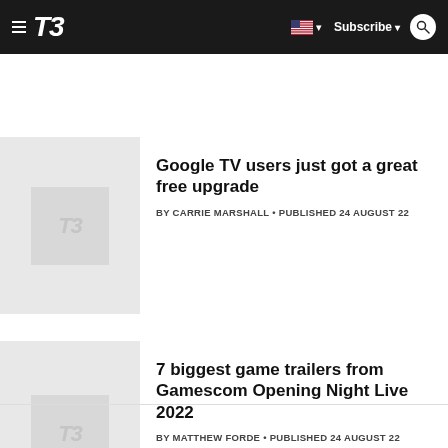T3
[Figure (screenshot): T3 logo placeholder thumbnail for Google TV article]
Google TV users just got a great free upgrade
BY CARRIE MARSHALL • PUBLISHED 24 AUGUST 22
[Figure (screenshot): T3 logo placeholder thumbnail for Gamescom article]
7 biggest game trailers from Gamescom Opening Night Live 2022
BY MATTHEW FORDE • PUBLISHED 24 AUGUST 22